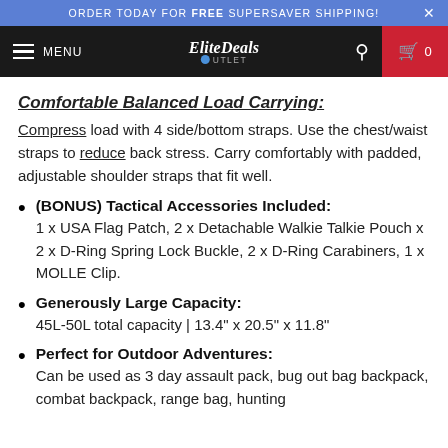ORDER TODAY FOR FREE SUPERSAVER SHIPPING!
[Figure (screenshot): EliteDeals Outlet navigation bar with hamburger menu, logo, search icon, and cart showing 0 items]
Comfortable Balanced Load Carrying:
Compress load with 4 side/bottom straps. Use the chest/waist straps to reduce back stress. Carry comfortably with padded, adjustable shoulder straps that fit well.
(BONUS) Tactical Accessories Included: 1 x USA Flag Patch, 2 x Detachable Walkie Talkie Pouch x 2 x D-Ring Spring Lock Buckle, 2 x D-Ring Carabiners, 1 x MOLLE Clip.
Generously Large Capacity: 45L-50L total capacity | 13.4" x 20.5" x 11.8"
Perfect for Outdoor Adventures: Can be used as 3 day assault pack, bug out bag backpack, combat backpack, range bag, hunting